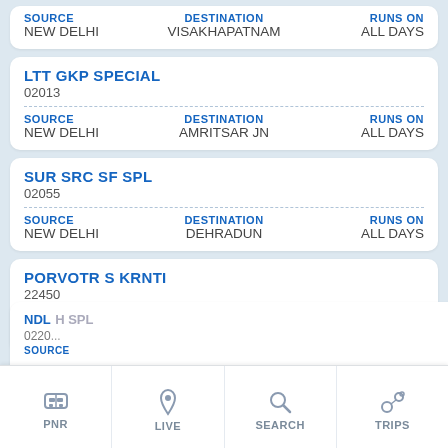SOURCE: NEW DELHI | DESTINATION: VISAKHAPATNAM | RUNS ON: ALL DAYS
LTT GKP SPECIAL
02013
SOURCE: NEW DELHI | DESTINATION: AMRITSAR JN | RUNS ON: ALL DAYS
SUR SRC SF SPL
02055
SOURCE: NEW DELHI | DESTINATION: DEHRADUN | RUNS ON: ALL DAYS
PORVOTR S KRNTI
22450
SOURCE: NEW DELHI | DESTINATION: GUWAHATI | RUNS ON: WED, SUN
NDL...H SPL
0220...
SOURCE...
PNR | LIVE | SEARCH | TRIPS